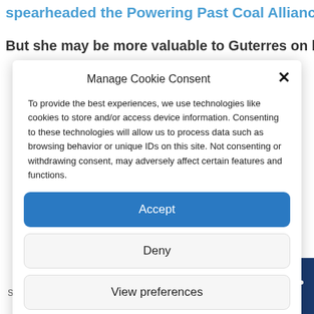spearheaded the Powering Past Coal Alliance.
But she may be more valuable to Guterres on his
Manage Cookie Consent
To provide the best experiences, we use technologies like cookies to store and/or access device information. Consenting to these technologies will allow us to process data such as browsing behavior or unique IDs on this site. Not consenting or withdrawing consent, may adversely affect certain features and functions.
Accept
Deny
View preferences
Cookie Policy  Privacy policy
4 Shares